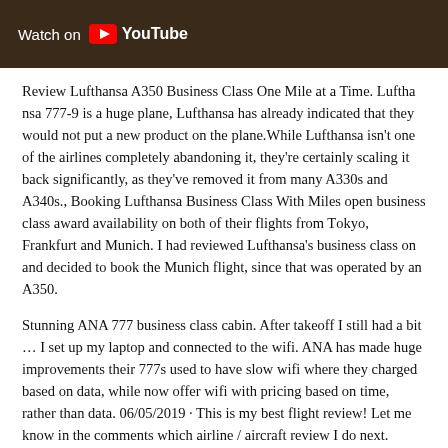[Figure (screenshot): YouTube video thumbnail bar with 'Watch on YouTube' text on dark brown background]
Review Lufthansa A350 Business Class One Mile at a Time. Lufthansa 777-9 is a huge plane, Lufthansa has already indicated that they won't put a new product on the plane.While Lufthansa isn't one of the airlines completely abandoning it, they're certainly scaling it back significantly, as they've removed it from many A330s and A340s., Booking Lufthansa Business Class With Miles open business class award availability on both of their flights from Frankfurt and Munich. I had reviewed Lufthansa's business class on decided to book the Munich flight, since that was operated by an A35
Stunning ANA 777 business class cabin. After takeoff I still had a bit up my laptop and connected to the wifi. ANA has made huge improvements 777s used to have slow wifi where they charged based on data, while wifi with pricing based on time, rather than data. 06/05/2019 · This is flight review! Let me know in the comments which airline / aircraft next. Flight Reviews in the...
Wednesday newsletters always feature a luxury hotel and/or flight re